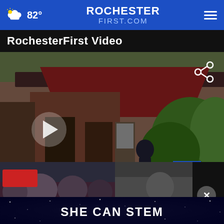82° ROCHESTERFIRST.COM ☰
RochesterFirst Video
[Figure (screenshot): Video player showing exterior of building with dark red tent/canopy structure, person walking, green trees in background. Lower third reads: DAISY FLOUR MILL NOW OWNED BY RISING STORM BREWING. WROC channel 8 bug shows 82° and 4:42. Play button visible at left. Share icon at top right.]
[Figure (screenshot): Bottom strip showing two video thumbnails side by side with SHE CAN STEM banner overlay across the center, and an X close button at top right of the strip.]